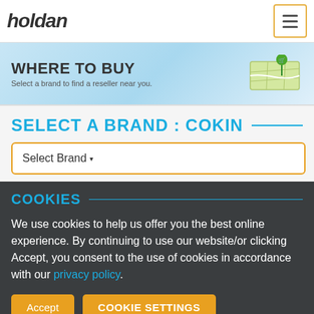holdan
[Figure (infographic): WHERE TO BUY banner with map icon and shopping cart pin. Text: 'WHERE TO BUY - Select a brand to find a reseller near you.']
SELECT A BRAND : COKIN
Select Brand
COOKIES
We use cookies to help us offer you the best online experience. By continuing to use our website/or clicking Accept, you consent to the use of cookies in accordance with our privacy policy.
Accept | COOKIE SETTINGS